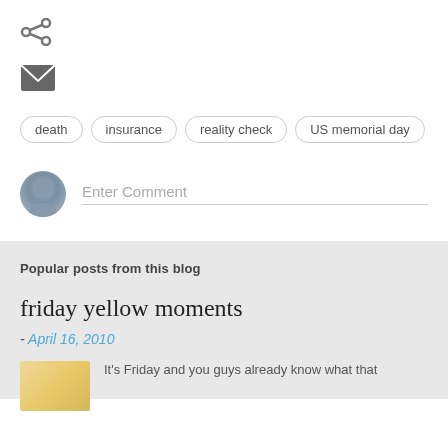[Figure (other): Share icon (social share symbol)]
[Figure (other): Email/envelope icon]
death
insurance
reality check
US memorial day
Enter Comment
Popular posts from this blog
friday yellow moments
- April 16, 2010
It's Friday and you guys already know what that